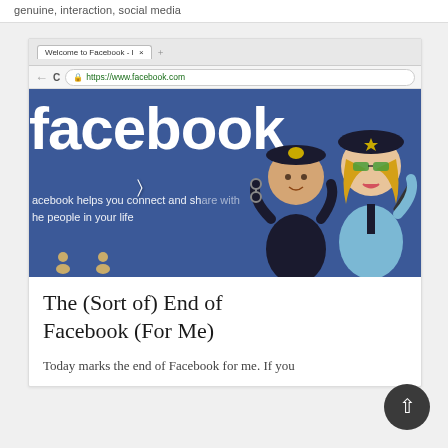genuine, interaction, social media
[Figure (photo): Photo showing the Facebook homepage in a browser screenshot with two cartoon/figurine police officers in the foreground. The browser shows 'Welcome to Facebook' tab, https://www.facebook.com in the address bar, the Facebook logo in white on blue background, and partial text 'facebook helps you connect and share with the people in your life'. Two caricature police officer figurines stand in front.]
The (Sort of) End of Facebook (For Me)
Today marks the end of Facebook for me. If you